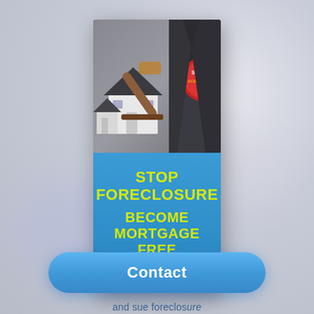[Figure (illustration): A book/flyer cover showing a miniature house model and a gavel in a courtroom-style photo on the upper half, with a blue background on the lower half showing yellow bold text 'STOP FORECLOSURE BECOME MORTGAGE FREE' and a small logo circle.]
and sue foreclos...
Contact